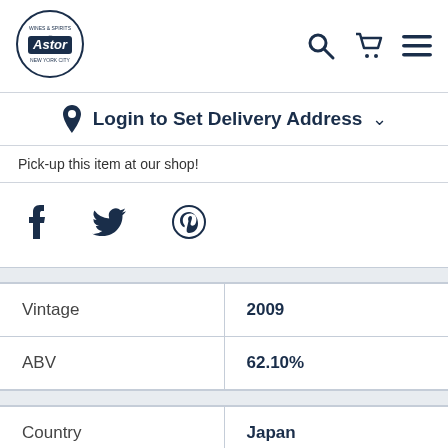[Figure (logo): Astor Wines & Spirits circular logo, New York City]
Login to Set Delivery Address
Pick-up this item at our shop!
[Figure (illustration): Social media icons: Facebook (f), Twitter (bird), Pinterest (P circle)]
| Vintage | 2009 |
| ABV | 62.10% |
| Country | Japan |